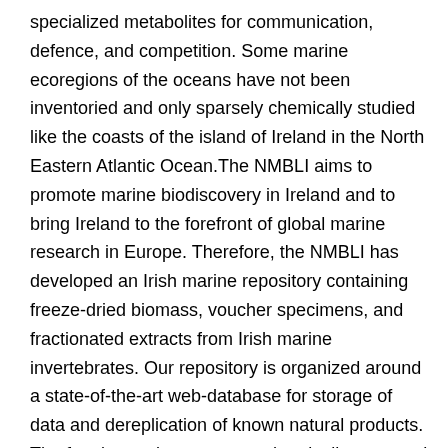specialized metabolites for communication, defence, and competition. Some marine ecoregions of the oceans have not been inventoried and only sparsely chemically studied like the coasts of the island of Ireland in the North Eastern Atlantic Ocean.The NMBLI aims to promote marine biodiscovery in Ireland and to bring Ireland to the forefront of global marine research in Europe. Therefore, the NMBLI has developed an Irish marine repository containing freeze-dried biomass, voucher specimens, and fractionated extracts from Irish marine invertebrates. Our repository is organized around a state-of-the-art web-database for storage of data and dereplication of known natural products. The fractionated extracts are chemically screened with UHPLC-HRMS/MS and biologically screened against a broad panel of microbial pathogens and tumour cell lines. These data profiles are uploaded on our web-database and our linked study on the open-access EMBL-EBI's 'Metabolights'. This process quickly leads us to the identification of marine organisms for an in-depth chemical investigation. Herein, we present the first results from the dereplication of marine natural products from our marine repository as well as some in-depth